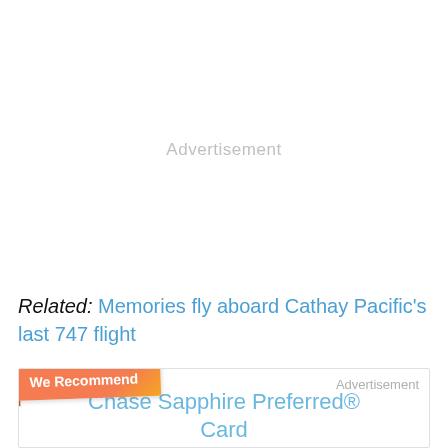Advertisement
Related: Memories fly aboard Cathay Pacific’s last 747 flight
[Figure (other): We Recommend banner with Chase Sapphire Preferred Card advertisement box]